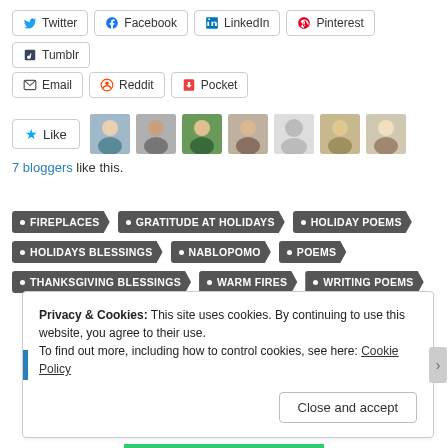Twitter, Facebook, LinkedIn, Pinterest, Tumblr, Email, Reddit, Pocket share buttons
[Figure (other): Like button with star icon and 7 blogger avatars]
7 bloggers like this.
FIREPLACES
GRATITUDE AT HOLIDAYS
HOLIDAY POEMS
HOLIDAYS BLESSINGS
NABLOPOMO
POEMS
THANKSGIVING BLESSINGS
WARM FIRES
WRITING POEMS
Privacy & Cookies: This site uses cookies. By continuing to use this website, you agree to their use. To find out more, including how to control cookies, see here: Cookie Policy
Close and accept